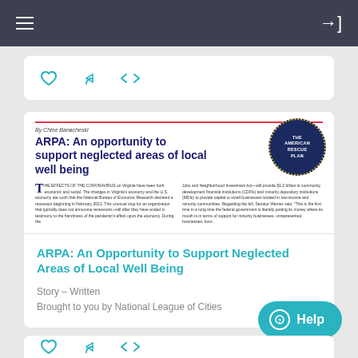Navigation bar with hamburger menu and login icon
[Figure (screenshot): Social action icon bar with heart, share, and embed icons]
[Figure (screenshot): Article preview thumbnail showing ARPA article with title 'ARPA: An opportunity to support neglected areas of local well being' by Chloe Banacheski, with American Rescue Plan badge and two-column body text]
ARPA: An Opportunity to Support Neglected Areas of Local Well Being
Story – Written
Brought to you by National League of Cities
[Figure (screenshot): Partial lower card with social icons (heart, share, embed)]